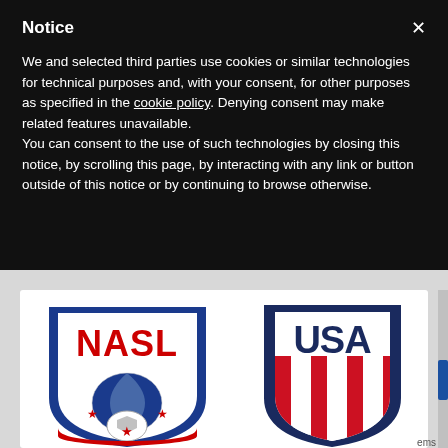Notice
We and selected third parties use cookies or similar technologies for technical purposes and, with your consent, for other purposes as specified in the cookie policy. Denying consent may make related features unavailable.
You can consent to the use of such technologies by closing this notice, by scrolling this page, by interacting with any link or button outside of this notice or by continuing to browse otherwise.
[Figure (logo): NASL (North American Soccer League) shield logo with globe and soccer ball]
[Figure (logo): USA Soccer crest logo with red and white stripes]